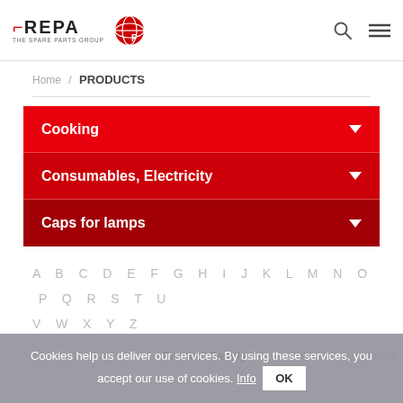REPA THE SPARE PARTS GROUP [logo] [globe icon] [search icon] [menu icon]
Home / PRODUCTS
Cooking
Consumables, Electricity
Caps for lamps
A B C D E F G H I J K L M N O P Q R S T U V W X Y Z
View by   Product Family   Manufacturer index
Cookies help us deliver our services. By using these services, you accept our use of cookies. Info OK